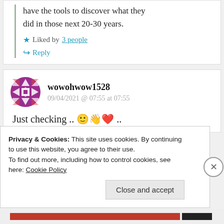have the tools to discover what they did in those next 20-30 years.
Liked by 3 people
Reply
wowohwow1528
09/04/2021 @ 07:55 at 07:55
Just checking .. 🙂👋❤️ ..
Privacy & Cookies: This site uses cookies. By continuing to use this website, you agree to their use. To find out more, including how to control cookies, see here: Cookie Policy
Close and accept